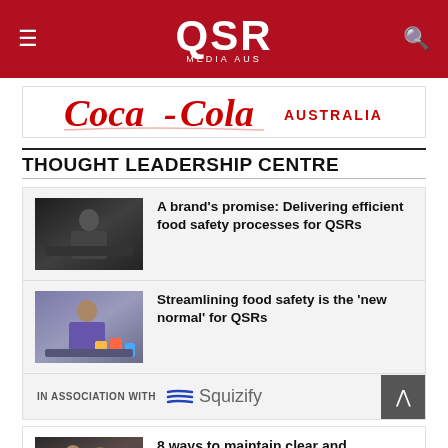QSR MEDIA AUS
[Figure (logo): Coca-Cola Australia advertisement banner]
THOUGHT LEADERSHIP CENTRE
[Figure (photo): Kitchen worker preparing food]
A brand's promise: Delivering efficient food safety processes for QSRs
[Figure (photo): Worker at QSR preparing beverages]
Streamlining food safety is the 'new normal' for QSRs
IN ASSOCIATION WITH Squizify
[Figure (photo): People at QSR restaurant]
8 ways to maintain clear and